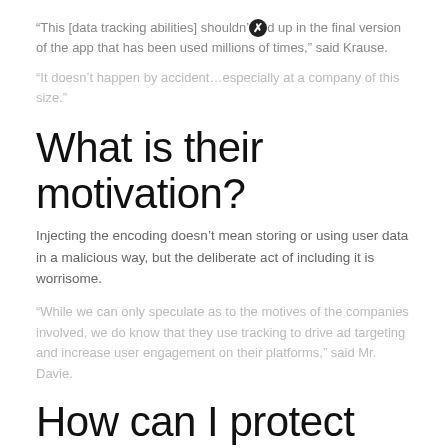"This [data tracking abilities] shouldn't end up in the final version of the app that has been used millions of times," said Krause.
"It doesn't happen by accident…especially at a company of this size."
What is their motivation?
Injecting the encoding doesn't mean storing or using user data in a malicious way, but the deliberate act of including it is worrisome.
"While we can only speculate as to the motives of the companies involved, we do know that they use tracking to drive ad targeting and increase user engagement on their platforms," said Mr. Davie.
How can I protect myself when browsing in-app links?